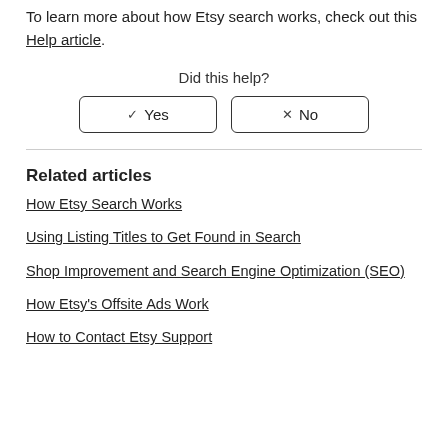To learn more about how Etsy search works, check out this Help article.
Did this help?
✓ Yes | ✗ No
Related articles
How Etsy Search Works
Using Listing Titles to Get Found in Search
Shop Improvement and Search Engine Optimization (SEO)
How Etsy's Offsite Ads Work
How to Contact Etsy Support